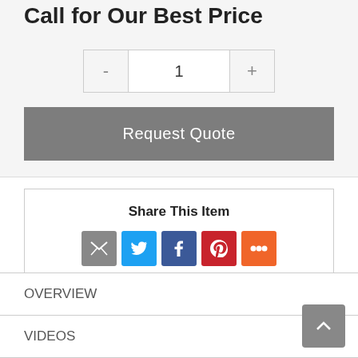Call for Our Best Price
[Figure (screenshot): Quantity selector with minus (-), input field showing 1, and plus (+) buttons]
[Figure (screenshot): Request Quote button in gray]
Share This Item
[Figure (infographic): Social share icons: email (gray), Twitter (blue), Facebook (dark blue), Pinterest (red), More (orange)]
OVERVIEW
VIDEOS